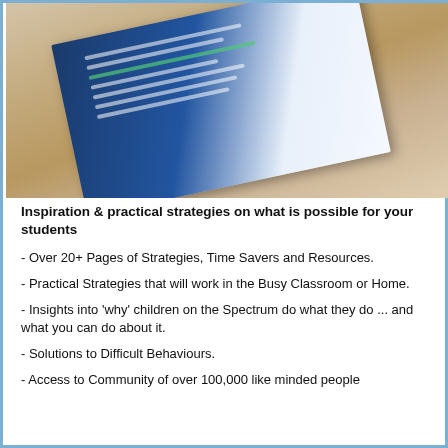[Figure (photo): A booklet or document lying open on a wooden table, photographed at an angle. The booklet has a dark blue cover with white text and green accents, showing multiple lines of content.]
Inspiration & practical strategies on what is possible for your students
- Over 20+ Pages of Strategies, Time Savers and Resources.
- Practical Strategies that will work in the Busy Classroom or Home.
- Insights into 'why' children on the Spectrum do what they do ... and what you can do about it.
- Solutions to Difficult Behaviours.
- Access to Community of over 100,000 like minded people